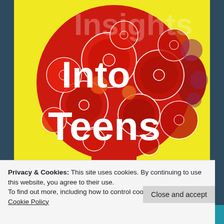[Figure (illustration): Book cover image titled 'Insights Into Teens' featuring a red silhouette of a head filled with colorful gears and cogs on a yellow background. Large white bold text overlays the image reading 'Into Teens' (with 'Insights' partially cut off at top).]
Privacy & Cookies: This site uses cookies. By continuing to use this website, you agree to their use.
To find out more, including how to control cookies, see here: Cookie Policy
Close and accept
special guest. Dan Wirth joins us virtually to